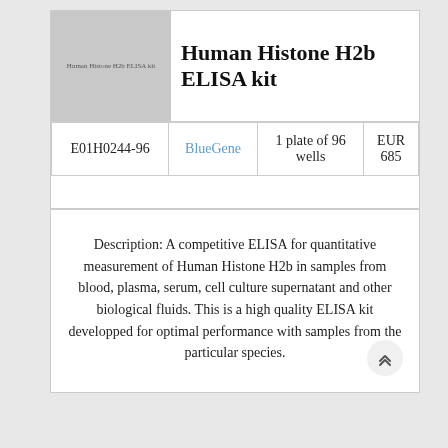[Figure (photo): Product image placeholder showing grey box with text 'Human Histone H2b ELISA kit']
Human Histone H2b ELISA kit
| Catalog | Brand | Size | Price |
| --- | --- | --- | --- |
| E01H0244-96 | BlueGene | 1 plate of 96 wells | EUR 685 |
Description: A competitive ELISA for quantitative measurement of Human Histone H2b in samples from blood, plasma, serum, cell culture supernatant and other biological fluids. This is a high quality ELISA kit developped for optimal performance with samples from the particular species.